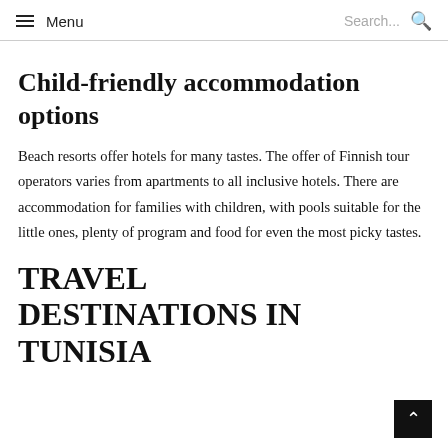Menu  Search...
Child-friendly accommodation options
Beach resorts offer hotels for many tastes. The offer of Finnish tour operators varies from apartments to all inclusive hotels. There are accommodation for families with children, with pools suitable for the little ones, plenty of program and food for even the most picky tastes.
TRAVEL DESTINATIONS IN TUNISIA